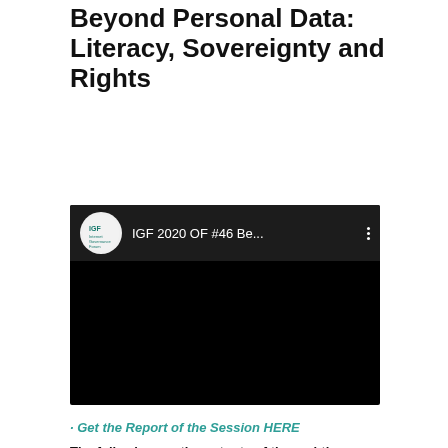Beyond Personal Data: Literacy, Sovereignty and Rights
[Figure (screenshot): Embedded YouTube-style video player showing IGF 2020 OF #46 Be... with IGF logo circle on dark background]
· Get the Report of the Session HERE
The following are the outputs of the real-time captioning taken during the virtual Fifteenth Annual Meeting of the Internet Governance